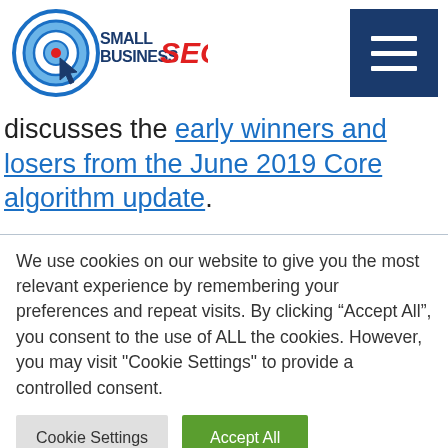Small Business SEO logo and navigation hamburger menu
discusses the early winners and losers from the June 2019 Core algorithm update.
We use cookies on our website to give you the most relevant experience by remembering your preferences and repeat visits. By clicking “Accept All”, you consent to the use of ALL the cookies. However, you may visit "Cookie Settings" to provide a controlled consent.